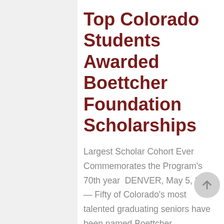Top Colorado Students Awarded Boettcher Foundation Scholarships
Largest Scholar Cohort Ever Commemorates the Program's 70th year  DENVER, May 5, 2022 — Fifty of Colorado's most talented graduating seniors have been named Boettcher Foundation Scholars, marking the largest cohort ever to earn the prestigious scholarship recognizing the next generation of doers and difference